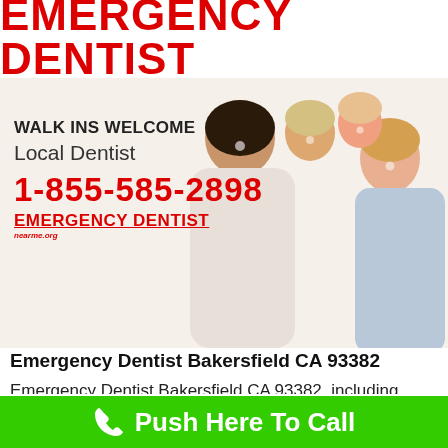[Figure (logo): Emergency Dentist NearMe.org logo with red text and red bar]
[Figure (photo): Happy smiling family of four: father, mother and two young children, posed together outdoors]
WALK INS WELCOME
Local Dentist
1-855-585-2898
EMERGENCY DENTIST
nearme.org
Emergency Dentist Bakersfield CA 93382
Emergency Dentist Bakersfield CA 93382, including local urgent dental care near me, Tooth extraction, Root canal, and Wisdom teeth removal. Local 24 hour emergency dentist office. Urgent care dental
Push Here To Call